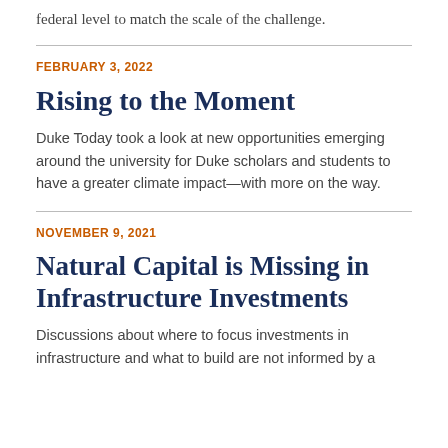federal level to match the scale of the challenge.
FEBRUARY 3, 2022
Rising to the Moment
Duke Today took a look at new opportunities emerging around the university for Duke scholars and students to have a greater climate impact—with more on the way.
NOVEMBER 9, 2021
Natural Capital is Missing in Infrastructure Investments
Discussions about where to focus investments in infrastructure and what to build are not informed by a complete accounting of the earth's natural assets.